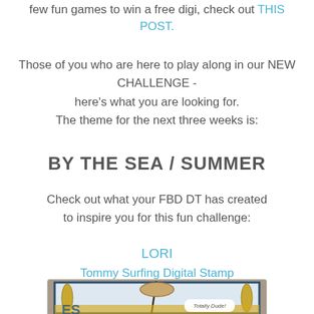few fun games to win a free digi, check out THIS POST.
Those of you who are here to play along in our NEW CHALLENGE - here's what you are looking for. The theme for the next three weeks is:
BY THE SEA / SUMMER
Check out what your FBD DT has created to inspire you for this fun challenge:
LORI
Tommy Surfing Digital Stamp
Totally Dude Digital Sentiment
[Figure (photo): A handmade card with a surfing theme featuring surfboards, a shell/can shape, and a 'Totally Dude!' label, displayed against a grey background.]